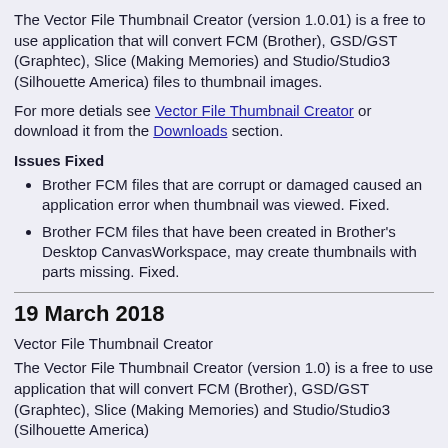The Vector File Thumbnail Creator (version 1.0.01) is a free to use application that will convert FCM (Brother), GSD/GST (Graphtec), Slice (Making Memories) and Studio/Studio3 (Silhouette America) files to thumbnail images.
For more detials see Vector File Thumbnail Creator or download it from the Downloads section.
Issues Fixed
Brother FCM files that are corrupt or damaged caused an application error when thumbnail was viewed. Fixed.
Brother FCM files that have been created in Brother's Desktop CanvasWorkspace, may create thumbnails with parts missing. Fixed.
19 March 2018
Vector File Thumbnail Creator
The Vector File Thumbnail Creator (version 1.0) is a free to use application that will convert FCM (Brother), GSD/GST (Graphtec), Slice (Making Memories) and Studio/Studio3 (Silhouette America)